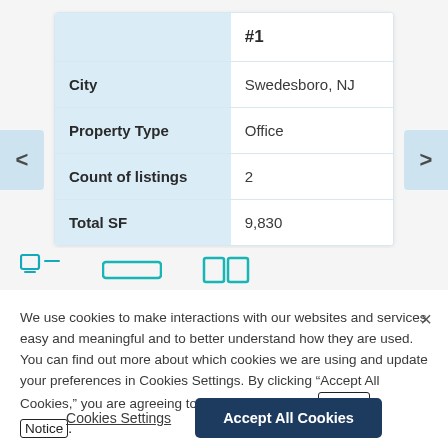|  | #1 |
| --- | --- |
| City | Swedesboro, NJ |
| Property Type | Office |
| Count of listings | 2 |
| Total SF | 9,830 |
[Figure (other): Row of property type icon buttons (small teal outlined icons)]
We use cookies to make interactions with our websites and services easy and meaningful and to better understand how they are used. You can find out more about which cookies we are using and update your preferences in Cookies Settings. By clicking "Accept All Cookies," you are agreeing to our use of cookies. Cookie Notice.
Cookies Settings
Accept All Cookies